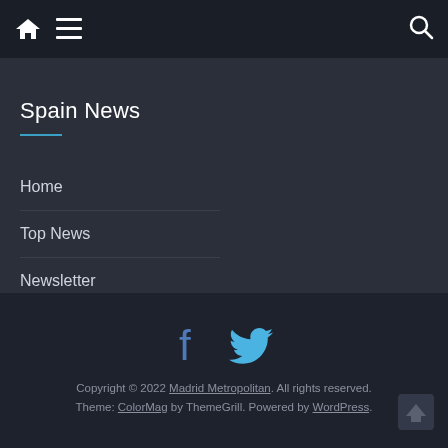Home icon | Menu icon | Search icon
Spain News
Home
Top News
Newsletter
Copyright © 2022 Madrid Metropolitan. All rights reserved. Theme: ColorMag by ThemeGrill. Powered by WordPress.